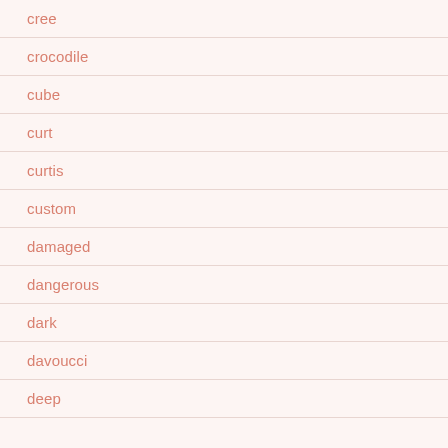cree
crocodile
cube
curt
curtis
custom
damaged
dangerous
dark
davoucci
deep